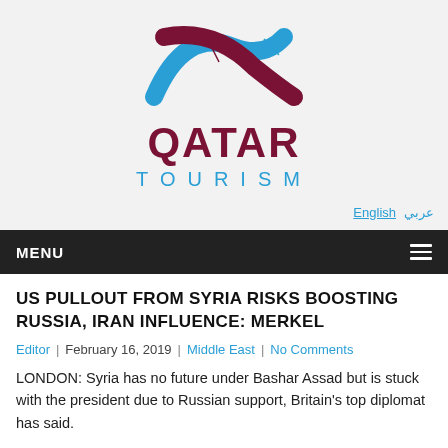[Figure (logo): Qatar Tourism logo with two curved swoosh shapes in blue and dark red/maroon, above the text QATAR in maroon and TOURISM in blue with wide letter spacing]
English | عربي
MENU ☰
US PULLOUT FROM SYRIA RISKS BOOSTING RUSSIA, IRAN INFLUENCE: MERKEL
Editor | February 16, 2019 | Middle East | No Comments
LONDON: Syria has no future under Bashar Assad but is stuck with the president due to Russian support, Britain's top diplomat has said.